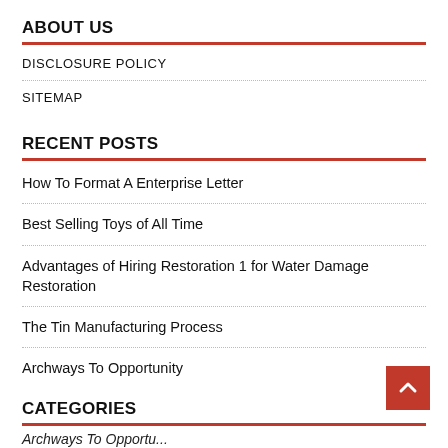ABOUT US
DISCLOSURE POLICY
SITEMAP
RECENT POSTS
How To Format A Enterprise Letter
Best Selling Toys of All Time
Advantages of Hiring Restoration 1 for Water Damage Restoration
The Tin Manufacturing Process
Archways To Opportunity
CATEGORIES
Archways To Opportu...